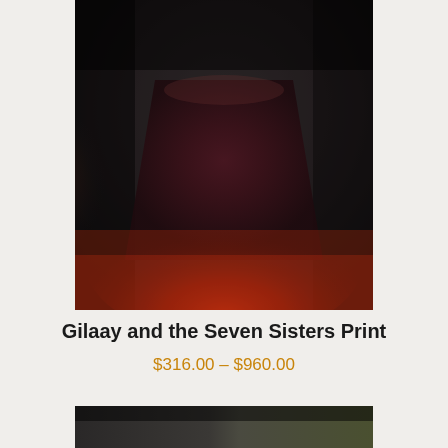[Figure (photo): Abstract art print showing a dark composition with deep red/crimson and dark maroon tones in the center forming a trapezoidal shape, surrounded by dark grey/charcoal tones. The lower portion glows with red-orange warm hues.]
Gilaay and the Seven Sisters Print
$316.00 – $960.00
[Figure (photo): Partial view of another abstract print at the bottom of the page, showing dark grey tones on the left and olive/dark green tones on the right.]